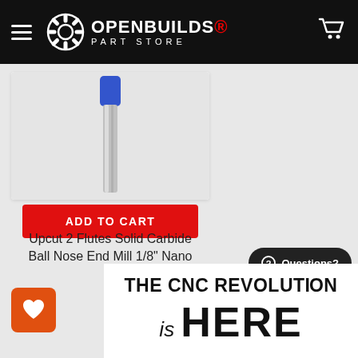[Figure (screenshot): OpenBuilds Part Store website header with hamburger menu, gear logo, OPENBUILDS PART STORE text, and cart icon on black background]
[Figure (photo): Upcut 2 Flutes Solid Carbide Ball Nose End Mill with blue top and silver shank on white/gray background]
ADD TO CART
Upcut 2 Flutes Solid Carbide Ball Nose End Mill 1/8" Nano Shield
SharkBits
$41.99
Questions?
THE CNC REVOLUTION is HERE